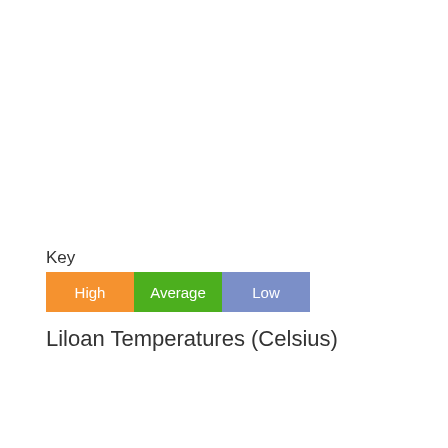Key
[Figure (other): Legend with three colored boxes labeled High (orange), Average (green), Low (blue-grey)]
Liloan Temperatures (Celsius)